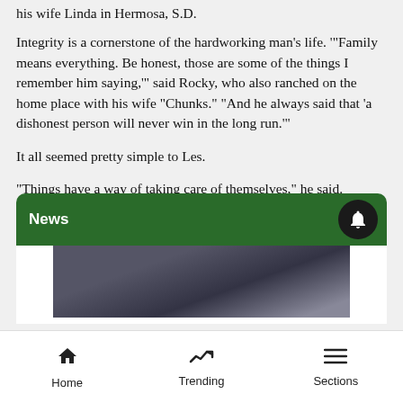his wife Linda in Hermosa, S.D.
Integrity is a cornerstone of the hardworking man’s life. ‘“Family means everything. Be honest, those are some of the things I remember him saying,’” said Rocky, who also ranched on the home place with his wife “Chunks.” “And he always said that ‘a dishonest person will never win in the long run.’”
It all seemed pretty simple to Les.
“Things have a way of taking care of themselves,” he said.
News
[Figure (photo): Dark image partially visible below News section header]
Home  Trending  Sections